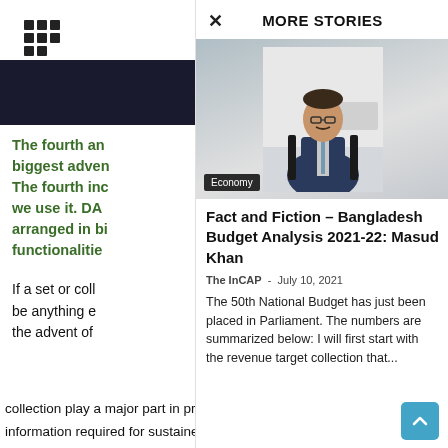[Figure (other): Grid/menu icon (3x3 dots, bottom row missing last dot)]
[Figure (photo): Dark banner/image strip on left column]
The fourth an biggest adven The fourth inc we use it. DA arranged in bi functionalitie
If a set or coll be anything e the advent of collection play a major part in providing us with the information required for sustained living and productive
MORE STORIES
[Figure (photo): Portrait photo of a man in a dark suit sitting in a chair, light background]
Economy
Fact and Fiction – Bangladesh Budget Analysis 2021-22: Masud Khan
The InCAP  -  July 10, 2021
The 50th National Budget has just been placed in Parliament. The numbers are summarized below: I will first start with the revenue target collection that...